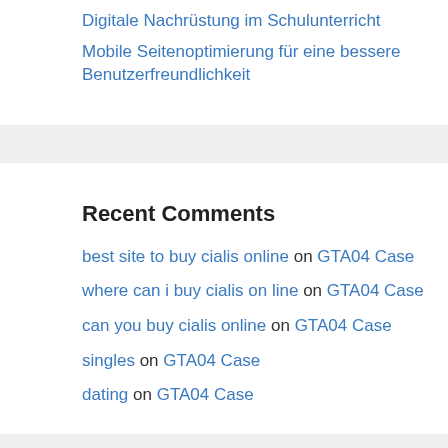Digitale Nachrüstung im Schulunterricht
Mobile Seitenoptimierung für eine bessere Benutzerfreundlichkeit
Recent Comments
best site to buy cialis online on GTA04 Case
where can i buy cialis on line on GTA04 Case
can you buy cialis online on GTA04 Case
singles on GTA04 Case
dating on GTA04 Case